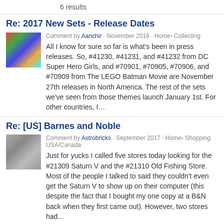6 results
Re: 2017 New Sets - Release Dates
Comment by Aanchir · November 2016 · Home› Collecting
All I know for sure so far is what's been in press releases. So, #41230, #41231, and #41232 from DC Super Hero Girls, and #70901, #70905, #70906, and #70909 from The LEGO Batman Movie are November 27th releases in North America. The rest of the sets we've seen from those themes launch January 1st. For other countries, I…
Re: [US] Barnes and Noble
Comment by Astrobricks · September 2017 · Home› Shopping USA/Canada
Just for yucks I called five stores today looking for the #21309 Saturn V and the #21310 Old Fishing Store. Most of the people I talked to said they couldn't even get the Saturn V to show up on their computer (this despite the fact that I bought my one copy at a B&N back when they first came out). However, two stores had…
Re: [UK] FOR SALE - 70620 Ninjago City x2 BNISB + 1 used & 70617 Temple of the Ultimate Weapon BNISB x2
Comment by Mr. Cross · May 16 ·